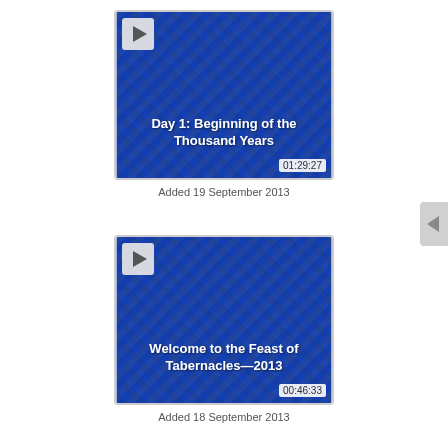[Figure (screenshot): Video thumbnail for 'Day 1: Beginning of the Thousand Years' with play button, blue diagonal striped background, duration 01:29:27]
Added 19 September 2013
[Figure (screenshot): Video thumbnail for 'Welcome to the Feast of Tabernacles—2013' with play button, blue diagonal striped background, duration 00:46:33]
Added 18 September 2013